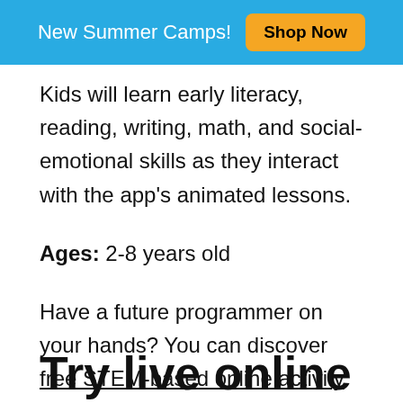New Summer Camps! Shop Now
Kids will learn early literacy, reading, writing, math, and social-emotional skills as they interact with the app's animated lessons.
Ages: 2-8 years old
Have a future programmer on your hands? You can discover free STEM-based online activity classes for kids here.
Try live online